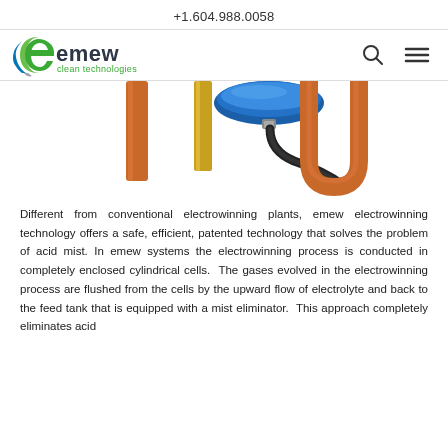+1.604.988.0058
[Figure (logo): emew clean technologies logo with green swoosh icon and blue/green text]
[Figure (photo): Engineering diagram/photo of emew electrowinning cylindrical cell showing copper tubes, gold/brass rod, and blue top cap with black hose connection]
Different from conventional electrowinning plants, emew electrowinning technology offers a safe, efficient, patented technology that solves the problem of acid mist. In emew systems the electrowinning process is conducted in completely enclosed cylindrical cells.  The gases evolved in the electrowinning process are flushed from the cells by the upward flow of electrolyte and back to the feed tank that is equipped with a mist eliminator.  This approach completely eliminates acid